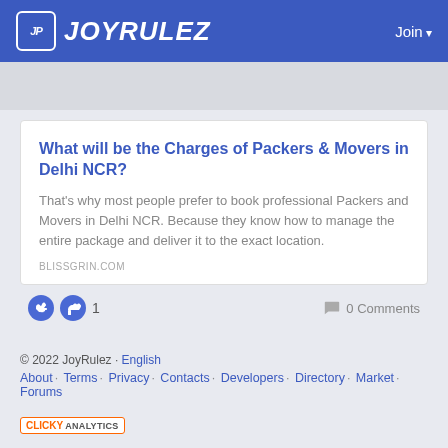JOYRULEZ · Join
What will be the Charges of Packers & Movers in Delhi NCR?
That's why most people prefer to book professional Packers and Movers in Delhi NCR. Because they know how to manage the entire package and deliver it to the exact location.
BLISSGRIN.COM
👍 1   💬 0 Comments
© 2022 JoyRulez · English
About · Terms · Privacy · Contacts · Developers · Directory · Market · Forums